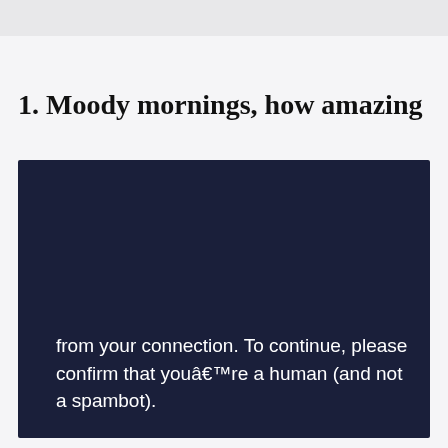[Figure (screenshot): Top gray navigation bar of a website]
1. Moody mornings, how amazing
[Figure (screenshot): Dark navy panel showing a bot-check message: 'from your connection. To continue, please confirm that you’re a human (and not a spambot).' with a reCAPTCHA widget showing a checkbox labeled 'I\'m not a robot' and the reCAPTCHA logo with Privacy and Terms links]
From @marius_krey